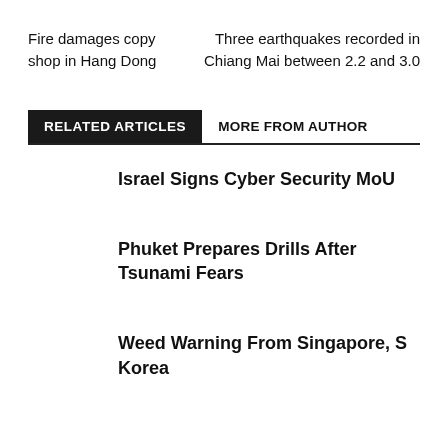Fire damages copy shop in Hang Dong
Three earthquakes recorded in Chiang Mai between 2.2 and 3.0
RELATED ARTICLES
MORE FROM AUTHOR
Israel Signs Cyber Security MoU
Phuket Prepares Drills After Tsunami Fears
Weed Warning From Singapore, S Korea